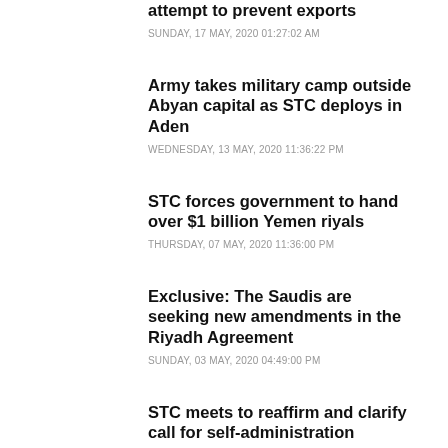attempt to prevent exports
SUNDAY, 17 MAY, 2020 01:27:02 AM
Army takes military camp outside Abyan capital as STC deploys in Aden
WEDNESDAY, 13 MAY, 2020 11:36:22 PM
STC forces government to hand over $1 billion Yemen riyals
THURSDAY, 07 MAY, 2020 11:36:00 PM
Exclusive: The Saudis are seeking new amendments in the Riyadh Agreement
SUNDAY, 03 MAY, 2020 04:49:00 PM
STC meets to reaffirm and clarify call for self-administration